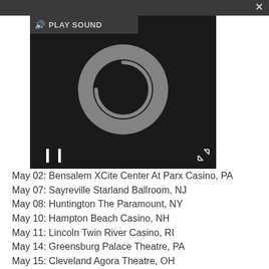[Figure (screenshot): Audio/video player UI with dark background, play sound button, loading spinner circle, and pause button]
May 02: Bensalem XCite Center At Parx Casino, PA
May 07: Sayreville Starland Ballroom, NJ
May 08: Huntington The Paramount, NY
May 10: Hampton Beach Casino, NH
May 11: Lincoln Twin River Casino, RI
May 14: Greensburg Palace Theatre, PA
May 15: Cleveland Agora Theatre, OH
May 17: Niagara Falls Resort & Casino, NY
May 18: Verona Tuning Stone Resort Casino, NY
Jun 14: Donington Download, UK
Jun 17: Prague O2 Arena, Czech Republic
Jun 18: Milan Mediolanum Forum, Italy (partially visible)